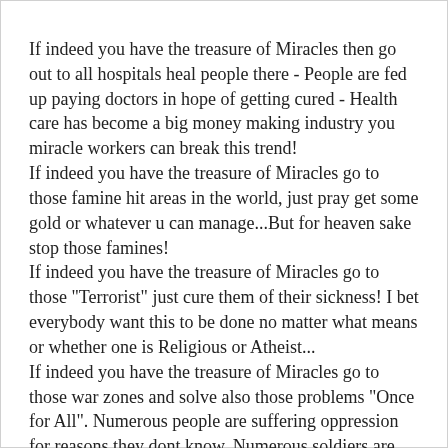If indeed you have the treasure of Miracles then go out to all hospitals heal people there - People are fed up paying doctors in hope of getting cured - Health care has become a big money making industry you miracle workers can break this trend! If indeed you have the treasure of Miracles go to those famine hit areas in the world, just pray get some gold or whatever u can manage...But for heaven sake stop those famines! If indeed you have the treasure of Miracles go to those "Terrorist" just cure them of their sickness! I bet everybody want this to be done no matter what means or whether one is Religious or Atheist... If indeed you have the treasure of Miracles go to those war zones and solve also those problems "Once for All". Numerous people are suffering oppression for reasons they dont know, Numerous soldiers are suffering oppressing people for reasons they too dont know...all are leading just so much frustrated life... Just for God Sake